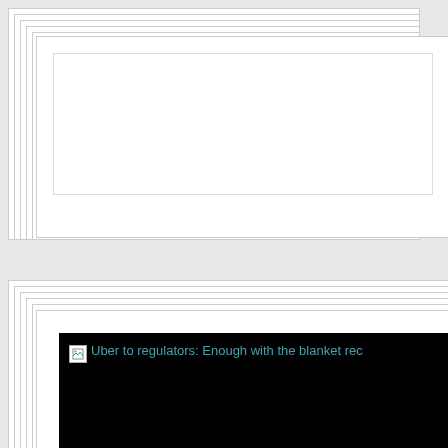[Figure (screenshot): Stacked white document pages (upper group) with light gray borders, shown at top-left area of the page. Multiple overlapping page outlines visible creating a depth effect.]
[Figure (screenshot): Stacked white document pages (lower group) with a black content area containing a broken image placeholder with alt text 'Uber to regulators: Enough with the blanket rec...' in teal/blue color.]